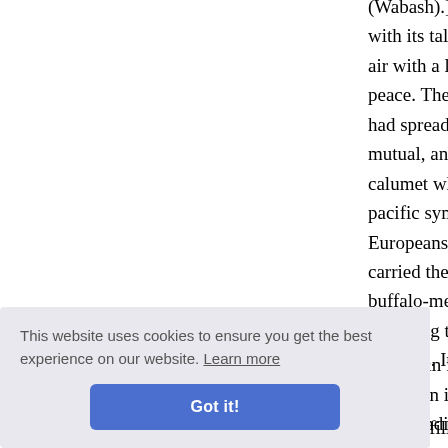(Wabash).] Soon they began to see the with its tall straight stems and feathery air with a languid stifling heat, and, b peace. They floated slowly down the c had spread as awnings, when suddenly mutual, and each party was as much fri calumet which the Illinois had given hi pacific symbol, replied with an invitatio Europeans, for they were armed with g carried their gunpowder in small bott buffalo-meat, bear's oil, and white plu including the agreeable but delusive as ten days. It was, in fact, more than a th
l again fl sed on i the Indi on the w s, and ru rgin. In t canoes, filled with savages, were puttin
This website uses cookies to ensure you get the best experience on our website. Learn more Got it!